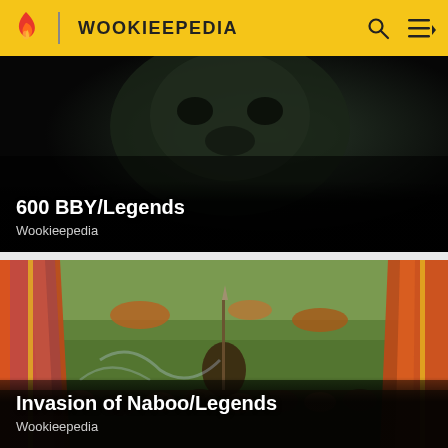WOOKIEEPEDIA
[Figure (screenshot): Dark background image showing a shadowy creature/monster face for the 600 BBY/Legends article]
600 BBY/Legends
Wookieepedia
[Figure (illustration): Battle scene illustration showing warriors with spears and robes charging across a field, with military vehicles in background for Invasion of Naboo/Legends article]
Invasion of Naboo/Legends
Wookieepedia